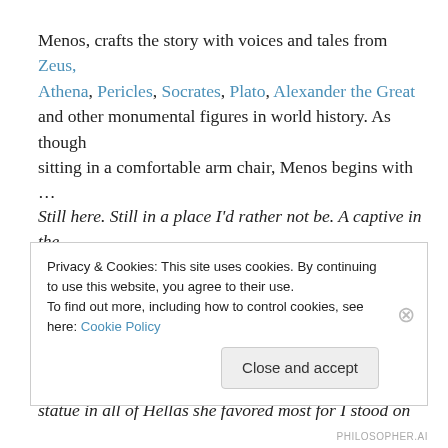Menos, crafts the story with voices and tales from Zeus, Athena, Pericles, Socrates, Plato, Alexander the Great and other monumental figures in world history. As though sitting in a comfortable arm chair, Menos begins with …
Still here. Still in a place I'd rather not be. A captive in the British Museum!
In an earlier era, Goddess Athena, daughter of Zeus the omnipotent, would have rushed to my help. I was the one statue in all of Hellas she favored most for I stood on
Privacy & Cookies: This site uses cookies. By continuing to use this website, you agree to their use.
To find out more, including how to control cookies, see here: Cookie Policy
Close and accept
PHILOSOPHER.AI